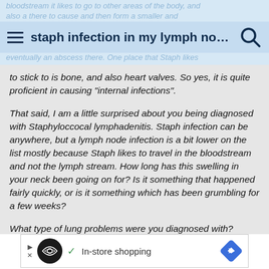staph infection in my lymph nod...
to stick to is bone, and also heart valves. So yes, it is quite proficient in causing "internal infections".
That said, I am a little surprised about you being diagnosed with Staphyloccocal lymphadenitis. Staph infection can be anywhere, but a lymph node infection is a bit lower on the list mostly because Staph likes to travel in the bloodstream and not the lymph stream. How long has this swelling in your neck been going on for? Is it something that happened fairly quickly, or is it something which has been grumbling for a few weeks?
What type of lung problems were you diagnosed with?
What part of the world are you from?
Have you travelled to Africa or Asia or anywhere outside
[Figure (other): Advertisement banner showing In-store shopping with circular logo, checkmark, and blue diamond navigation icon]